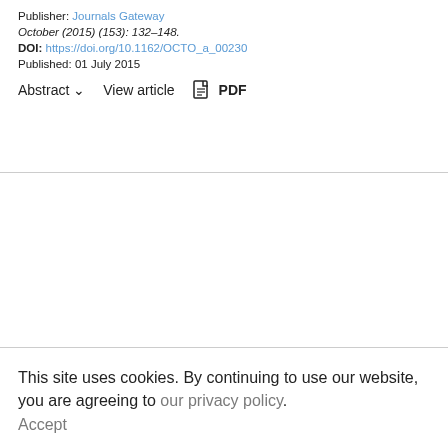Publisher: Journals Gateway
October (2015) (153): 132–148.
DOI: https://doi.org/10.1162/OCTO_a_00230
Published: 01 July 2015
Abstract ∨   View article   PDF
This site uses cookies. By continuing to use our website, you are agreeing to our privacy policy. Accept